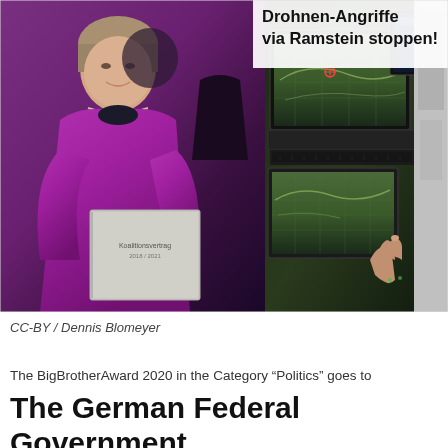[Figure (photo): Composite image: left side shows Angela Merkel in a magenta/purple blazer holding a grey booklet labeled 'Koalitionsvertrag 2018/2021'; right side shows military drone control screens with a person's hand touching a display; a protest banner overlay in the top right reads 'Drohnen-Angriffe via Ramstein stoppen!']
CC-BY / Dennis Blomeyer
The BigBrotherAward 2020 in the Category “Politics” goes to
The German Federal Government, by the coalition of the parties CD